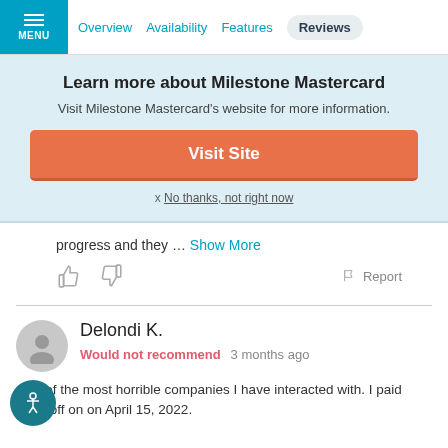MENU | Overview | Availability | Features | Reviews
Learn more about Milestone Mastercard
Visit Milestone Mastercard's website for more information.
Visit Site
x No thanks, not right now
progress and they … Show More
Report
Delondi K.
Would not recommend   3 months ago
One of the most horrible companies I have interacted with. I paid them off on on April 15, 2022.